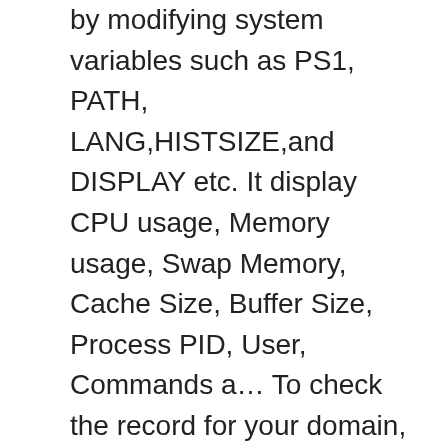by modifying system variables such as PS1, PATH, LANG,HISTSIZE,and DISPLAY etc. It display CPU usage, Memory usage, Swap Memory, Cache Size, Buffer Size, Process PID, User, Commands a… To check the record for your domain, run dig with your domain name as the parameter. For the response, not so much (at least, not for me). How the dig Command Works. username0= echo "username0 has been declared, but is set to null." The grep command can also be used to find strings in another string. There is no special bash variable for that. The grep command is handy when searching through large log files. Dig comes standard with all the major Linux distributions, and is useful for